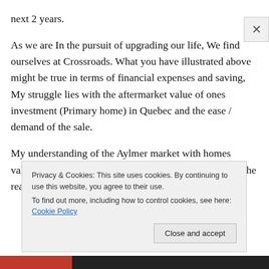next 2 years. As we are In the pursuit of upgrading our life, We find ourselves at Crossroads. What you have illustrated above might be true in terms of financial expenses and saving, My struggle lies with the aftermarket value of ones investment (Primary home) in Quebec and the ease / demand of the sale. My understanding of the Aylmer market with homes valued over $400 k seem to show a longer presence on the real estate market. The
Privacy & Cookies: This site uses cookies. By continuing to use this website, you agree to their use. To find out more, including how to control cookies, see here: Cookie Policy